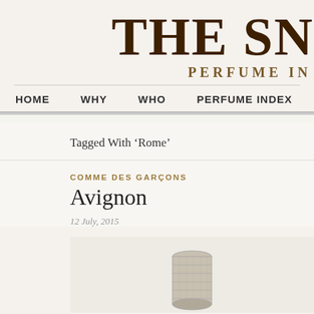THE SN
PERFUME IN
HOME  WHY  WHO  PERFUME INDEX
Tagged With ‘Rome’
COMME DES GARÇONS
Avignon
12 July, 2015
[Figure (illustration): Partial illustration of a perfume bottle, cylindrical metallic cap visible at bottom center of image box]